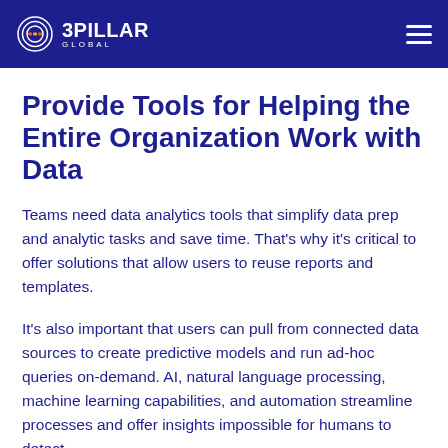3PILLAR GLOBAL
Provide Tools for Helping the Entire Organization Work with Data
Teams need data analytics tools that simplify data prep and analytic tasks and save time. That's why it's critical to offer solutions that allow users to reuse reports and templates.
It's also important that users can pull from connected data sources to create predictive models and run ad-hoc queries on-demand. AI, natural language processing, machine learning capabilities, and automation streamline processes and offer insights impossible for humans to detect